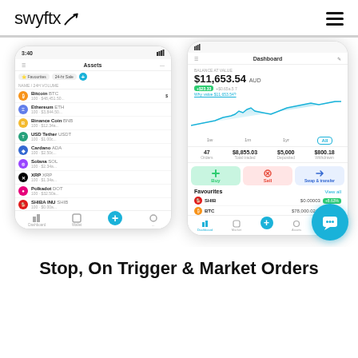swyftx
[Figure (screenshot): Two smartphone screenshots of the Swyftx cryptocurrency trading app. The left phone shows an asset list with Bitcoin BTC, Ethereum ETH, Binance Coin BNB, USD Tether USDT, Cardano ADA, Solana SOL, XRP XRP, Polkadot DOT, SHIBA INU SHIB. The right phone shows the Dashboard with balance $11,653.54 AUD, a line chart of portfolio performance, stats showing 47 Orders, $8,855.03 Total traded, $5,000 Deposited, $800.18 Withdrawn, Buy/Sell/Swap & transfer buttons, and Favourites section showing SHIB and BTC.]
Stop, On Trigger & Market Orders